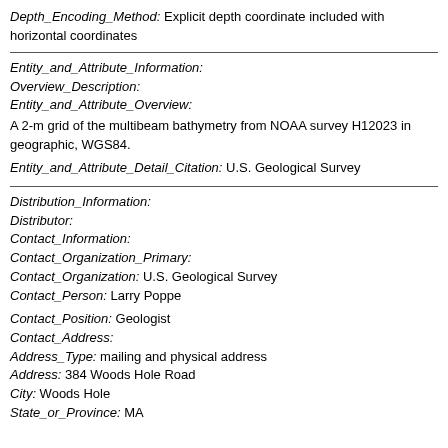Depth_Encoding_Method: Explicit depth coordinate included with horizontal coordinates
Entity_and_Attribute_Information:
Overview_Description:
Entity_and_Attribute_Overview:
A 2-m grid of the multibeam bathymetry from NOAA survey H12023 in geographic, WGS84.
Entity_and_Attribute_Detail_Citation: U.S. Geological Survey
Distribution_Information:
Distributor:
Contact_Information:
Contact_Organization_Primary:
Contact_Organization: U.S. Geological Survey
Contact_Person: Larry Poppe
Contact_Position: Geologist
Contact_Address:
Address_Type: mailing and physical address
Address: 384 Woods Hole Road
City: Woods Hole
State_or_Province: MA